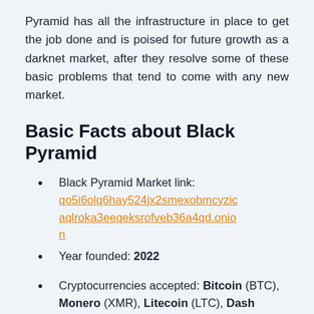Pyramid has all the infrastructure in place to get the job done and is poised for future growth as a darknet market, after they resolve some of these basic problems that tend to come with any new market.
Basic Facts about Black Pyramid
Black Pyramid Market link: qo5i6olq6hay524jx2smexobmcyzicaqlroka3eeqeksrofveb36a4qd.onion
Year founded: 2022
Cryptocurrencies accepted: Bitcoin (BTC), Monero (XMR), Litecoin (LTC), Dash (DASH), Bitcoin Cash